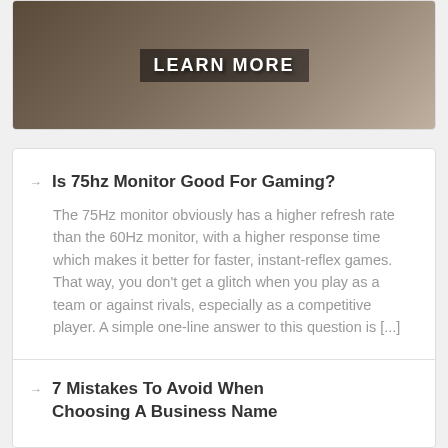[Figure (photo): Banner image with 'LEARN MORE' text overlay on a wooden background with cards]
Is 75hz Monitor Good For Gaming?
The 75Hz monitor obviously has a higher refresh rate than the 60Hz monitor, with a higher response time which makes it better for faster, instant-reflex games. That way, you don't get a glitch when you play as a team or against rivals, especially as a competitive player. A simple one-line answer to this question is [...]
7 Mistakes To Avoid When Choosing A Business Name